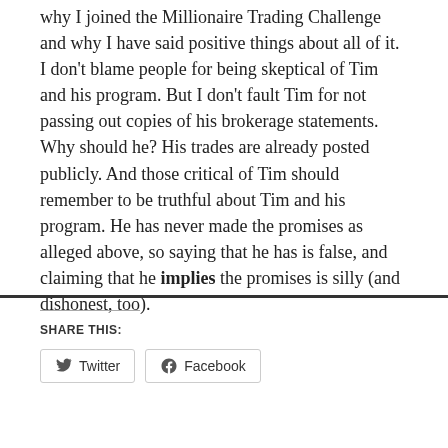why I joined the Millionaire Trading Challenge and why I have said positive things about all of it. I don't blame people for being skeptical of Tim and his program. But I don't fault Tim for not passing out copies of his brokerage statements. Why should he? His trades are already posted publicly. And those critical of Tim should remember to be truthful about Tim and his program. He has never made the promises as alleged above, so saying that he has is false, and claiming that he implies the promises is silly (and dishonest, too).
SHARE THIS:
Twitter
Facebook